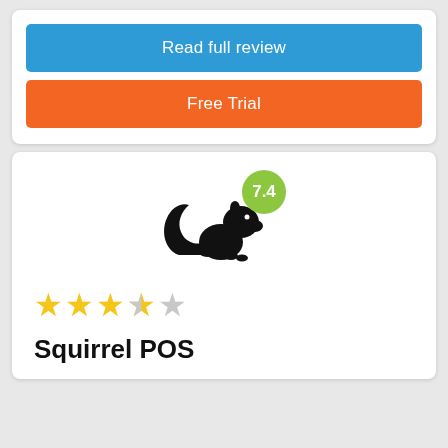Read full review
Free Trial
[Figure (logo): Squirrel POS logo: black silhouette of a squirrel with a green circular badge showing the score 7.4]
★★★★☆ (3.5 out of 5 stars rating)
Squirrel POS